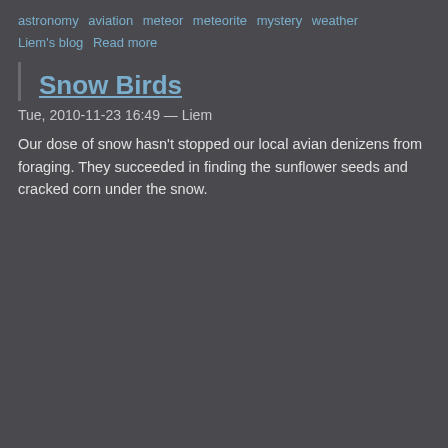astronomy  aviation  meteor  meteorite  mystery  weather  Liem's blog  Read more
Snow Birds
Tue, 2010-11-23 16:49 — Liem
Our dose of snow hasn't stopped our local avian denizens from foraging. They succeeded in finding the sunflower seeds and cracked corn under the snow.